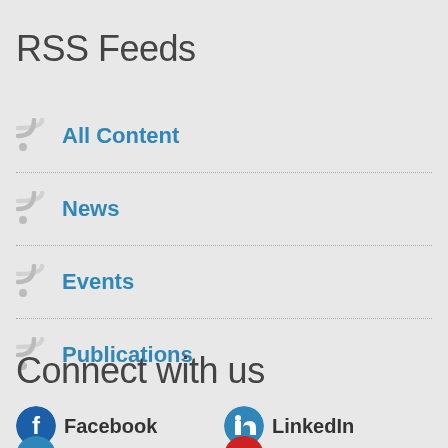RSS Feeds
All Content
News
Events
Publications
Connect with us
Facebook
LinkedIn